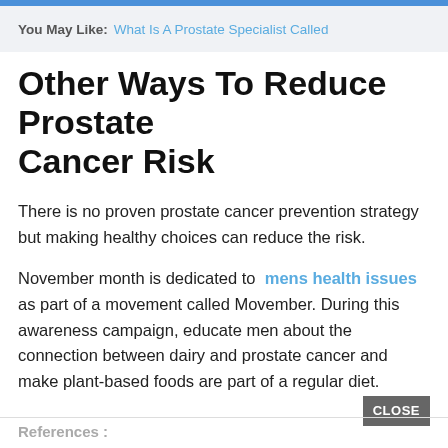You May Like: What Is A Prostate Specialist Called
Other Ways To Reduce Prostate Cancer Risk
There is no proven prostate cancer prevention strategy but making healthy choices can reduce the risk.
November month is dedicated to mens health issues as part of a movement called Movember. During this awareness campaign, educate men about the connection between dairy and prostate cancer and make plant-based foods are part of a regular diet.
References :